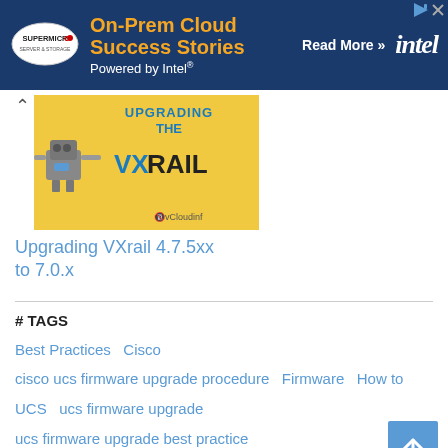[Figure (screenshot): Supermicro / Intel banner advertisement: 'On-Prem Cloud Success Stories Powered by Intel® Read More >>' on dark blue background with Supermicro and Intel logos]
[Figure (screenshot): Thumbnail image for 'Upgrading the VXRail' article with robot character on yellow background and vCloudinf branding]
Upgrading VXrail 4.7.5xx to 7.0.x
# TAGS
Best Practices    Cisco
cisco ucs firmware upgrade procedure    Firmware    How to
UCS    ucs firmware upgrade
ucs firmware upgrade best practice
ucs firmware upgrade guide    Upgrade